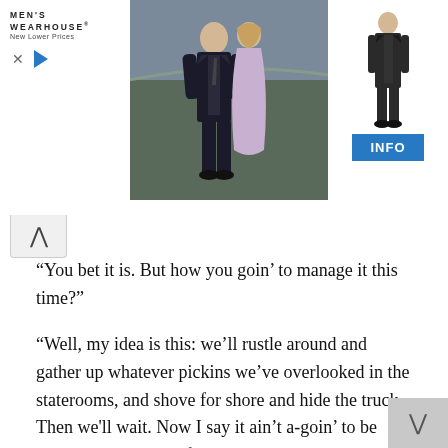[Figure (photo): Men's Wearhouse advertisement banner showing a couple (man in dark suit and woman in formal dress) and a single male figure in a suit on the right side, with an INFO button. Logo reads MEN'S WEARHOUSE New Lower Prices.]
“You bet it is. But how you goin’ to manage it this time?”
“Well, my idea is this: we’ll rustle around and gather up whatever pickins we’ve overlooked in the staterooms, and shove for shore and hide the truck. Then we'll wait. Now I say it ain’t a-goin’ to be more’n two hours befo’ this wrack breaks up and washes off down the river. See? He’ll be drownded, and won’t have nobody to blame for it but his own self. I reckon that’s a considerble sight better ’n killin’ of him. I’m unfavorable to killin’ a man as long as you can git aroun’ it; it ain’t